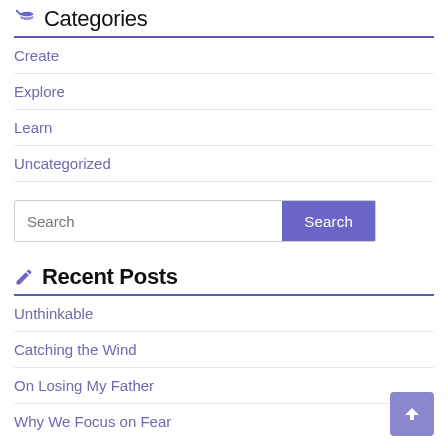Categories
Create
Explore
Learn
Uncategorized
Search
Recent Posts
Unthinkable
Catching the Wind
On Losing My Father
Why We Focus on Fear